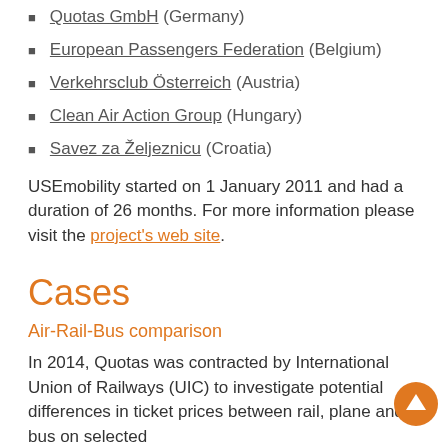Quotas GmbH (Germany)
European Passengers Federation (Belgium)
Verkehrsclub Österreich (Austria)
Clean Air Action Group (Hungary)
Savez za Železnicu (Croatia)
USEmobility started on 1 January 2011 and had a duration of 26 months. For more information please visit the project's web site.
Cases
Air-Rail-Bus comparison
In 2014, Quotas was contracted by International Union of Railways (UIC) to investigate potential differences in ticket prices between rail, plane and bus on selected